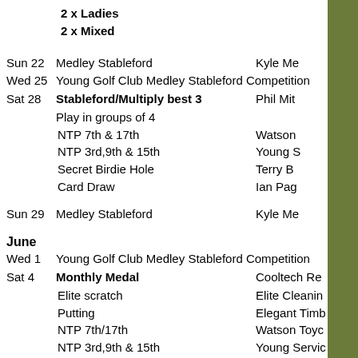2 x Ladies
2 x Mixed
Sun 22  Medley Stableford  Kyle Me
Wed 25  Young Golf Club Medley Stableford Competition
Sat 28  Stableford/Multiply best 3  Phil Mit
Play in groups of 4
NTP 7th & 17th  Watson
NTP 3rd,9th & 15th  Young S
Secret Birdie Hole  Terry B
Card Draw  Ian Pag
Sun 29  Medley Stableford  Kyle Me
June
Wed 1  Young Golf Club Medley Stableford Competition
Sat 4  Monthly Medal  Cooltech Re
Elite scratch  Elite Cleanin
Putting  Elegant Timb
NTP 7th/17th  Watson Toyc
NTP 3rd,9th & 15th  Young Servic
Secret Birdie Hole  Terry Bros